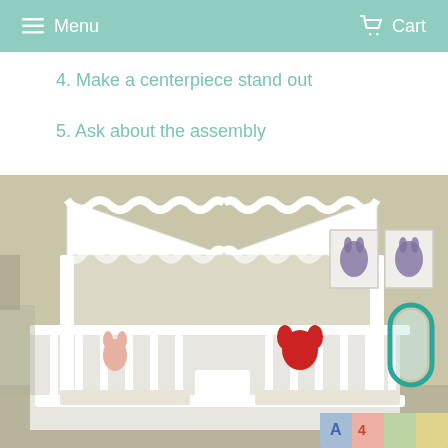Menu  Cart
4. Make a centerpiece stand out
5. Ask about the assembly
[Figure (photo): A white children's bed/crib with a house-shaped canopy frame featuring scalloped decorative trim, set in a nursery room. The bed has white railings and a patterned mattress. On the wall to the right are two framed rabbit prints and an oval teal-framed mirror. A colorful alphabet floor mat is visible in the bottom right corner.]